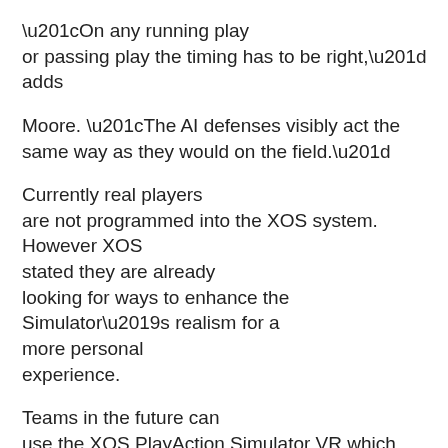“On any running play or passing play the timing has to be right,” adds Moore. “The AI defenses visibly act the same way as they would on the field.”
Currently real players are not programmed into the XOS system. However XOS stated they are already looking for ways to enhance the Simulator’s realism for a more personal experience.
Teams in the future can use the XOS PlayAction Simulator VR which integrates with the XOS SportMotion studio provides athletes with a virtual world experience. The XOS SportMotion studio puts players’ physical bodies into the virtual world, while headmounted